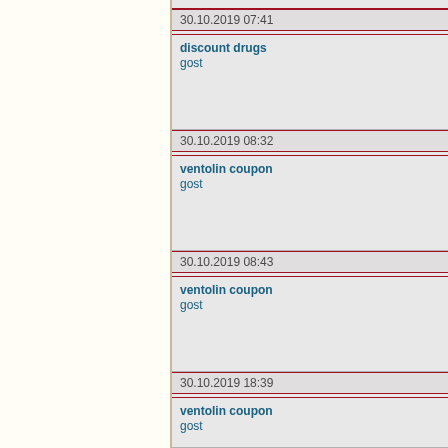30.10.2019 07:41
discount drugs
gost
30.10.2019 08:32
ventolin coupon
gost
30.10.2019 08:43
ventolin coupon
gost
30.10.2019 18:39
ventolin coupon
gost